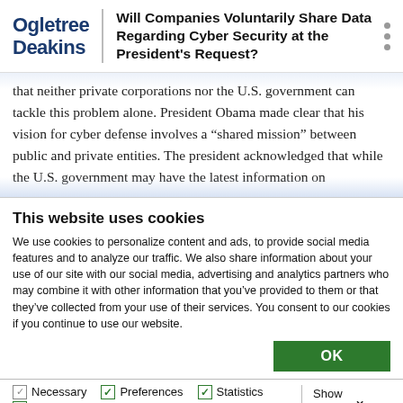Ogletree Deakins | Will Companies Voluntarily Share Data Regarding Cyber Security at the President's Request?
that neither private corporations nor the U.S. government can tackle this problem alone. President Obama made clear that his vision for cyber defense involves a “shared mission” between public and private entities. The president acknowledged that while the U.S. government may have the latest information on
This website uses cookies
We use cookies to personalize content and ads, to provide social media features and to analyze our traffic. We also share information about your use of our site with our social media, advertising and analytics partners who may combine it with other information that you’ve provided to them or that they’ve collected from your use of their services. You consent to our cookies if you continue to use our website.
OK
Necessary  Preferences  Statistics  Show details  Marketing